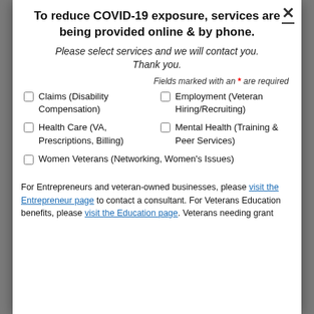To reduce COVID-19 exposure, services are being provided online & by phone.
Please select services and we will contact you. Thank you.
Fields marked with an * are required
Claims (Disability Compensation)
Employment (Veteran Hiring/Recruiting)
Health Care (VA, Prescriptions, Billing)
Mental Health (Training & Peer Services)
Women Veterans (Networking, Women's Issues)
For Entrepreneurs and veteran-owned businesses, please visit the Entrepreneur page to contact a consultant. For Veterans Education benefits, please visit the Education page. Veterans needing grant